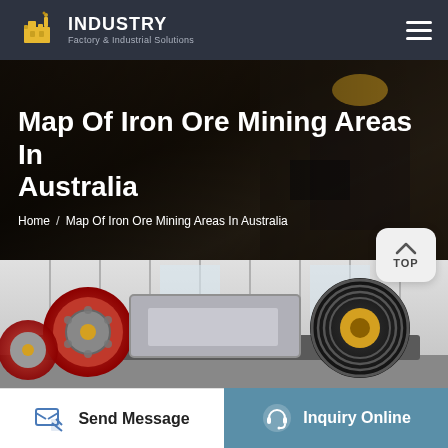INDUSTRY — Factory & Industrial Solutions
Map Of Iron Ore Mining Areas In Australia
Home / Map Of Iron Ore Mining Areas In Australia
[Figure (photo): Industrial mining machinery — jaw crusher with large red and black flywheels, belt drive pulleys, and heavy equipment in a factory setting]
Send Message
Inquiry Online